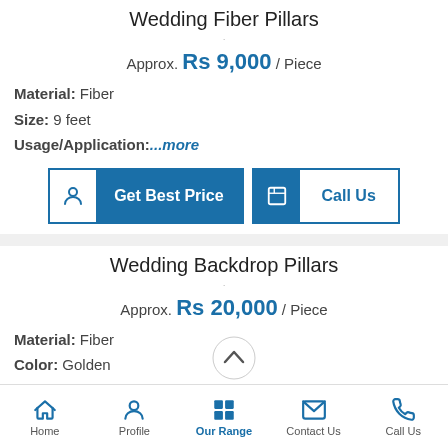Wedding Fiber Pillars
Approx. Rs 9,000 / Piece
Material: Fiber
Size: 9 feet
Usage/Application: ...more
Get Best Price
Call Us
Wedding Backdrop Pillars
Approx. Rs 20,000 / Piece
Material: Fiber
Color: Golden
Size: 9...more
Home | Profile | Our Range | Contact Us | Call Us